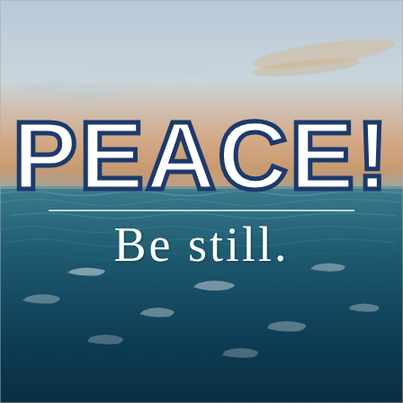[Figure (illustration): Ocean seascape photo with dramatic sky at sunset/dusk. Upper portion shows sky with clouds and warm orange-pink tones near horizon. Lower portion shows dark teal-blue choppy ocean waves with whitecaps. The scene is peaceful yet dramatic.]
PEACE!
Be still.